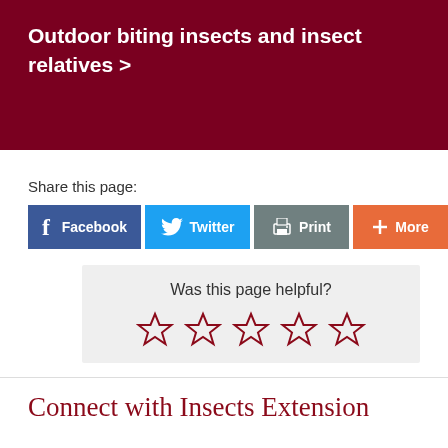Outdoor biting insects and insect relatives >
Share this page:
[Figure (other): Social share buttons: Facebook, Twitter, Print, More]
Was this page helpful?
[Figure (other): Five empty star rating icons for page helpfulness rating]
Connect with Insects Extension